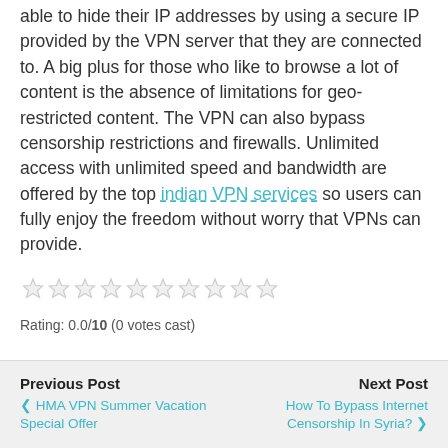from the data and traffic encryption. Users will also be able to hide their IP addresses by using a secure IP provided by the VPN server that they are connected to. A big plus for those who like to browse a lot of content is the absence of limitations for geo-restricted content. The VPN can also bypass censorship restrictions and firewalls. Unlimited access with unlimited speed and bandwidth are offered by the top indian VPN services so users can fully enjoy the freedom without worry that VPNs can provide.
[Figure (other): 10 empty star rating icons in a row]
Rating: 0.0/10 (0 votes cast)
Previous Post | HMA VPN Summer Vacation Special Offer || Next Post | How To Bypass Internet Censorship In Syria?